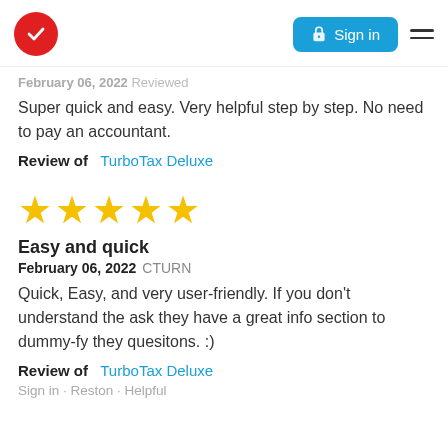TurboTax logo | Sign in | Menu
February 06, 2022 [username]
Super quick and easy. Very helpful step by step. No need to pay an accountant.
Review of   TurboTax Deluxe
[Figure (other): Five gold star rating]
Easy and quick
February 06, 2022 CTURN
Quick, Easy, and very user-friendly. If you don't understand the ask they have a great info section to dummy-fy they quesitons. :)
Review of   TurboTax Deluxe
Sign in · Reston · [cutoff]